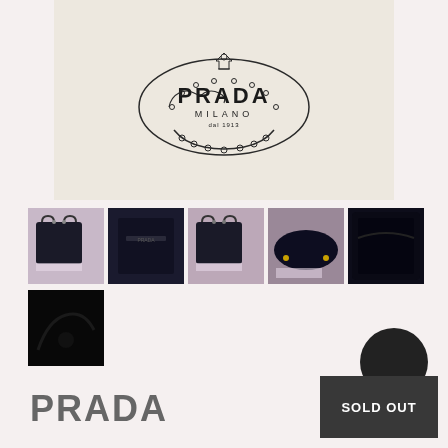[Figure (photo): Hero image showing a cream/beige Prada dust bag with the Prada Milano logo printed on it]
[Figure (photo): Six thumbnail photos of a black Prada saffiano leather tote bag shown from various angles including front, back, bottom, and interior]
PRADA
SOLD OUT